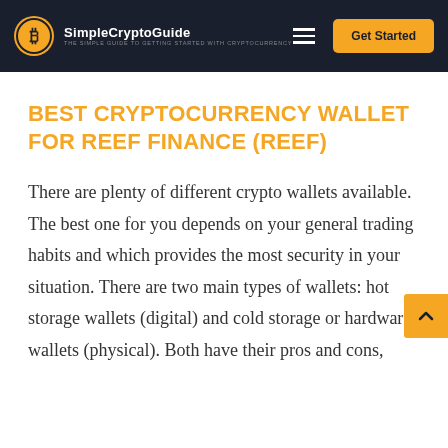SimpleCryptoGuide — Get Started
BEST CRYPTOCURRENCY WALLET FOR REEF FINANCE (REEF)
There are plenty of different crypto wallets available. The best one for you depends on your general trading habits and which provides the most security in your situation. There are two main types of wallets: hot storage wallets (digital) and cold storage or hardware wallets (physical). Both have their pros and cons,